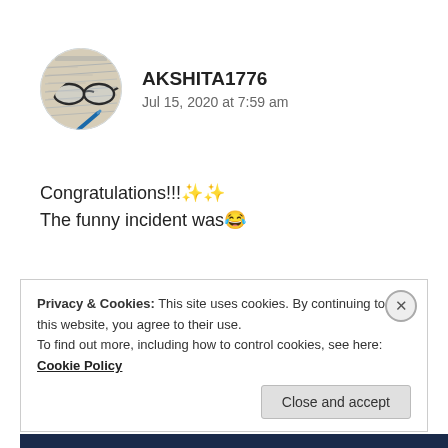[Figure (photo): Circular avatar image showing eyeglasses resting on handwritten text/book pages with a blue pen, styled as a blog commenter profile picture]
AKSHITA1776
Jul 15, 2020 at 7:59 am
Congratulations!!!✨✨
The funny incident was😂
★ Liked by 1 person
REPLY
Privacy & Cookies: This site uses cookies. By continuing to use this website, you agree to their use.
To find out more, including how to control cookies, see here: Cookie Policy
Close and accept